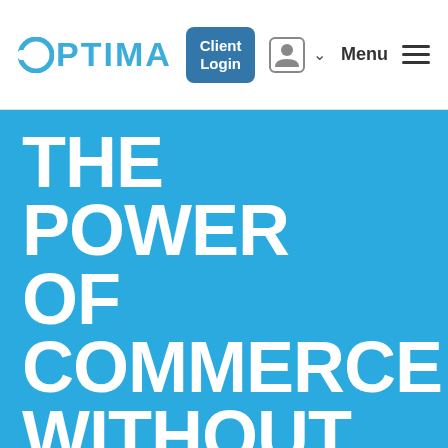OPTIMA | Client Login | Menu
THE POWER OF COMMERCE WITHOUT BORDERS